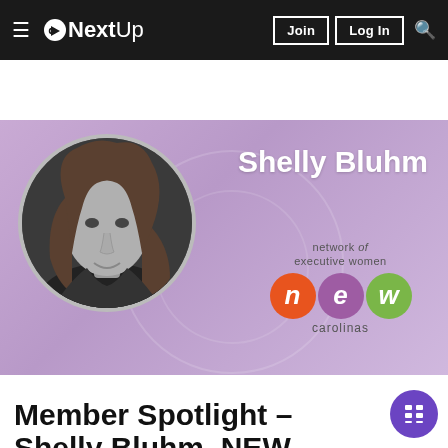NextUp — Join | Log In
[Figure (photo): Hero banner with purple/lavender background. Circular black-and-white photo of Shelly Bluhm (woman with long wavy hair). Name 'Shelly Bluhm' in white text. Network of Executive Women (NEW) Carolinas logo with orange N, purple E, green W circles.]
MEMBER SPOTLIGHT
We use cookies to give you the best online experience.
OK   Privacy Policy
Member Spotlight – Shelly Bluhm, NEW